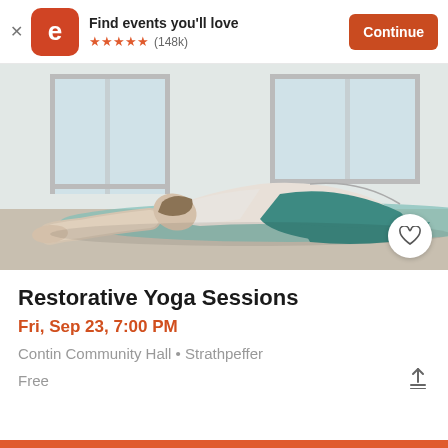Find events you'll love ★★★★★ (148k) Continue
[Figure (photo): Person performing child's pose yoga position on a teal yoga mat in a bright room with windows]
Restorative Yoga Sessions
Fri, Sep 23, 7:00 PM
Contin Community Hall • Strathpeffer
Free